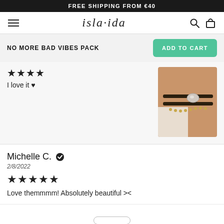FREE SHIPPING FROM €40
[Figure (logo): isla·ida brand logo with hamburger menu, search icon, and cart icon in navigation bar]
NO MORE BAD VIBES PACK
ADD TO CART
I love it ♥
[Figure (photo): Close-up photo of a bracelet on a wrist showing a dark cord bracelet with a crystal/pearl bead and a chain bracelet]
Michelle C. ✓
2/8/2022
★★★★★
Love themmmm! Absolutely beautiful ><